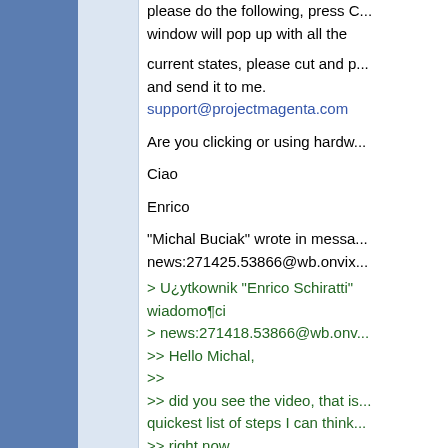please do the following, press C... window will pop up with all the
current states, please cut and p... and send it to me.
support@projectmagenta.com
Are you clicking or using hardw...
Ciao
Enrico
"Michal Buciak" wrote in messa... news:271425.53866@wb.onvix...
> U¿ytkownik "Enrico Schiratti" wiadomo¶ci
> news:271418.53866@wb.onv...
>> Hello Michal,
>>
>> did you see the video, that is... quickest list of steps I can think... right now.
>
> Yes I did. I did the startup pro... ways:
>
> - first like on the video
>
> - second like in dreamfleet